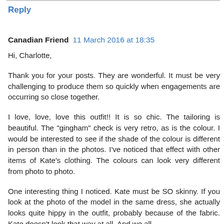Reply
Canadian Friend  11 March 2016 at 18:35
Hi, Charlotte,
Thank you for your posts. They are wonderful. It must be very challenging to produce them so quickly when engagements are occurring so close together.
I love, love, love this outfit!! It is so chic. The tailoring is beautiful. The "gingham" check is very retro, as is the colour. I would be interested to see if the shade of the colour is different in person than in the photos. I've noticed that effect with other items of Kate's clothing. The colours can look very different from photo to photo.
One interesting thing I noticed. Kate must be SO skinny. If you look at the photo of the model in the same dress, she actually looks quite hippy in the outfit, probably because of the fabric. Kate doesn't look that way at all. And we all